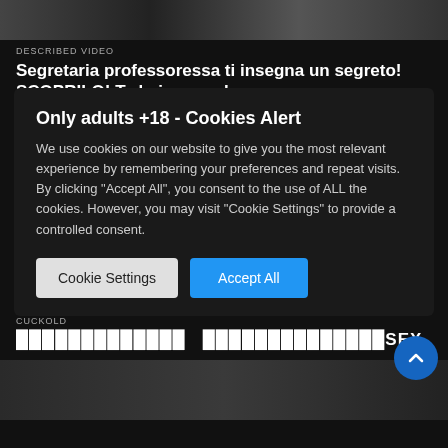[Figure (photo): Top thumbnail image strip, dark/blurred]
DESCRIBED VIDEO
Segretaria professoressa ti insegna un segreto! SCOPRILO! Te lo insegno!
Only adults +18 - Cookies Alert
We use cookies on our website to give you the most relevant experience by remembering your preferences and repeat visits. By clicking "Accept All", you consent to the use of ALL the cookies. However, you may visit "Cookie Settings" to provide a controlled consent.
CUCKOLD
█████████████   ██████████████SEX
[Figure (photo): Bottom thumbnail image strip]